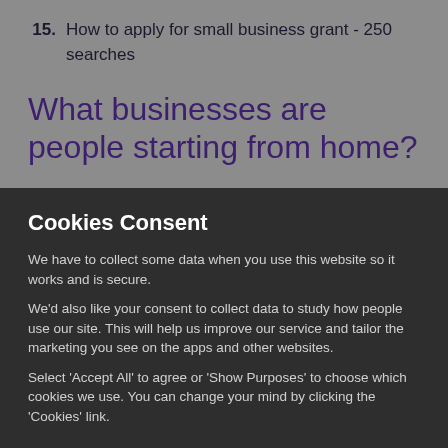15. How to apply for small business grant - 250 searches
What businesses are people starting from home?
Cookies Consent
We have to collect some data when you use this website so it works and is secure.
We'd also like your consent to collect data to study how people use our site. This will help us improve our service and tailor the marketing you see on the apps and other websites.
Select 'Accept All' to agree or 'Show Purposes' to choose which cookies we use. You can change your mind by clicking the 'Cookies' link.